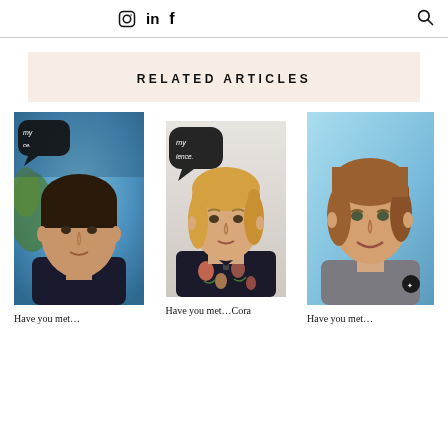Instagram LinkedIn Facebook [search]
RELATED ARTICLES
[Figure (photo): Portrait photo of a dark-haired young man in a dark sweater against a blurred green/blue background]
Have you met…
[Figure (photo): Portrait photo of a blonde woman in a dark floral dress holding a speech bubble prop]
Have you met…Cora
[Figure (photo): Portrait photo of a young woman with light brown hair in a grey t-shirt against a light blue background]
Have you met…